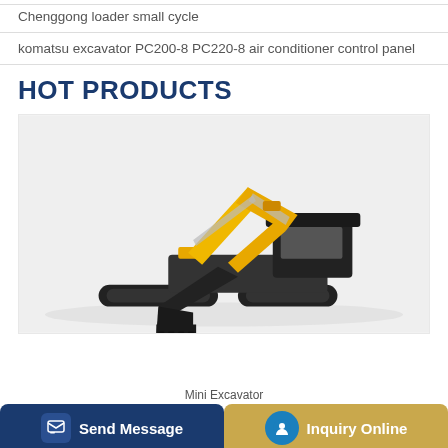Chenggong loader small cycle
komatsu excavator PC200-8 PC220-8 air conditioner control panel
HOT PRODUCTS
[Figure (photo): Yellow mini excavator with bucket attachment on a light grey background]
Mini Excavator
Send Message
Inquiry Online